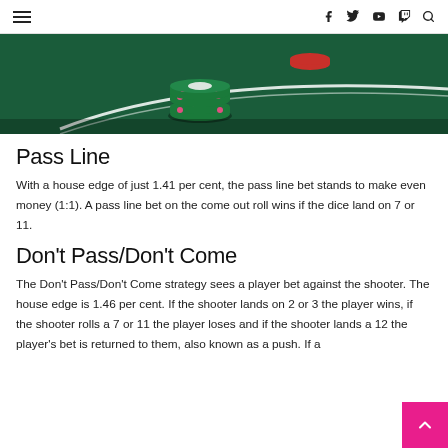≡  f  🐦  ▶  📺  🔍
[Figure (photo): Close-up photo of casino poker chips stacked on a green felt craps/casino table with white curved line markings]
Pass Line
With a house edge of just 1.41 per cent, the pass line bet stands to make even money (1:1). A pass line bet on the come out roll wins if the dice land on 7 or 11.
Don't Pass/Don't Come
The Don't Pass/Don't Come strategy sees a player bet against the shooter. The house edge is 1.46 per cent. If the shooter lands on 2 or 3 the player wins, if the shooter rolls a 7 or 11 the player loses and if the shooter lands a 12 the player's bet is returned to them, also known as a push. If a